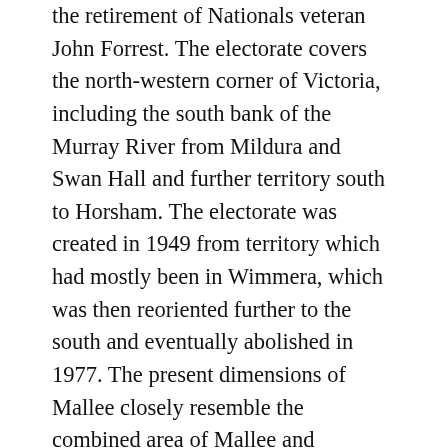the retirement of Nationals veteran John Forrest. The electorate covers the north-western corner of Victoria, including the south bank of the Murray River from Mildura and Swan Hall and further territory south to Horsham. The electorate was created in 1949 from territory which had mostly been in Wimmera, which was then reoriented further to the south and eventually abolished in 1977. The present dimensions of Mallee closely resemble the combined area of Mallee and Wimmera as drawn in 1949, such has been the area's relative population decline. The redistribution to take effect at the coming election has buttressed it with a further 6000 voters by adding Stawell in the south of the electorate, previously in Wannon.